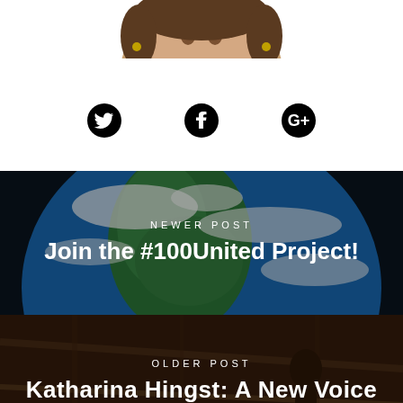[Figure (photo): Partial top crop of a person portrait photo, showing the top of the head]
[Figure (illustration): Three social media icons: Twitter bird, Facebook f-in-circle, and Google+ c-plus icon]
[Figure (photo): Earth globe from space showing North America, with blue oceans, green landmass and white clouds, used as background for 'Newer Post' section]
NEWER POST
Join the #100United Project!
[Figure (photo): Dark warm-toned background showing a person silhouette in an indoor setting, used as background for 'Older Post' section]
OLDER POST
Katharina Hingst: A New Voice in Film